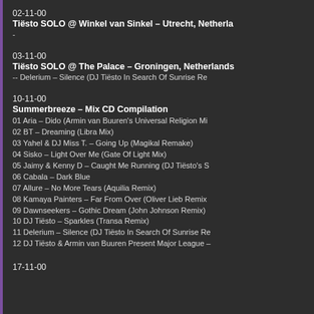02-11-00
Tiësto SOLO @ Winkel van Sinkel – Utrecht, Netherlands
-
03-11-00
Tiësto SOLO @ The Palace – Groningen, Netherlands
-- Delerium – Silence (DJ Tiësto In Search Of Sunrise Re
10-11-00
Summerbreeze – Mix CD Compilation
01 Aria – Dido (Armin van Buuren's Universal Religion Mi
02 BT – Dreaming (Libra Mix)
03 Yahel & DJ Miss T. – Going Up (Magikal Remake)
04 Sisko – Light Over Me (Gate Of Light Mix)
05 Jaimy & Kenny D – Caught Me Running (DJ Tiësto's S
06 Cabala – Dark Blue
07 Allure – No More Tears (Aquilia Remix)
08 Kamaya Painters – Far From Over (Oliver Lieb Remix
09 Dawnseekers – Gothic Dream (John Johnson Remix)
10 DJ Tiësto – Sparkles (Transa Remix)
11 Delerium – Silence (DJ Tiësto In Search Of Sunrise Re
12 DJ Tiësto & Armin van Buuren Present Major League –
17-11-00